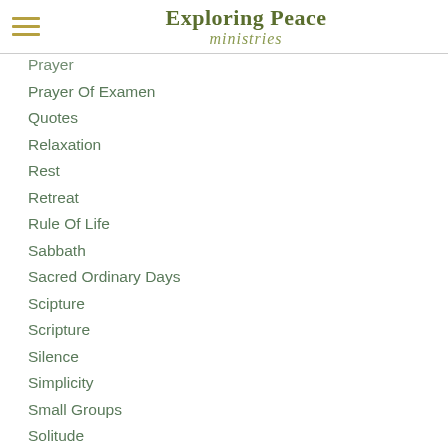Exploring Peace ministries
Prayer
Prayer Of Examen
Quotes
Relaxation
Rest
Retreat
Rule Of Life
Sabbath
Sacred Ordinary Days
Scipture
Scripture
Silence
Simplicity
Small Groups
Solitude
Soul Care
Spiritual Direction
Spiritual Formation